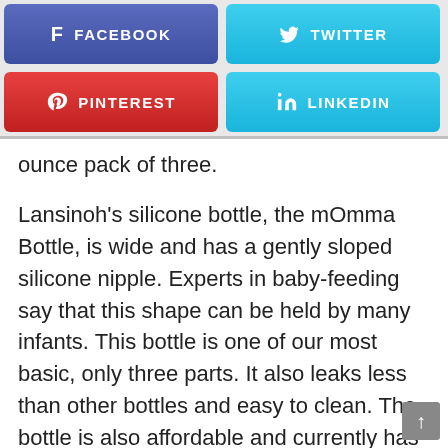[Figure (infographic): Four social media share buttons arranged in a 2x2 grid: Facebook (purple/blue), Twitter (light blue), Pinterest (red), LinkedIn (light blue)]
ounce pack of three.
Lansinoh's silicone bottle, the mOmma Bottle, is wide and has a gently sloped silicone nipple. Experts in baby-feeding say that this shape can be held by many infants. This bottle is one of our most basic, only three parts. It also leaks less than other bottles and easy to clean. The bottle is also affordable and currently has a rating of 4.7 stars (out of 5), based on more than 1100 reviews. We found many parents are satisfied with the mOmma Bottle after reading numerous discussions in popular Facebook groups.